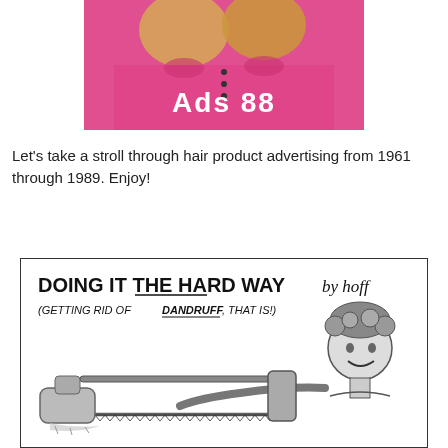[Figure (photo): Photo of two blonde women in pink shirts with text 'Ads 88' printed on the shirt]
Let's take a stroll through hair product advertising from 1961 through 1989.  Enjoy!
[Figure (illustration): Black and white cartoon illustration titled 'DOING IT THE HARD WAY by hoff (GETTING RID OF DANDRUFF, THAT IS!)' showing a cartoon woman using a hand saw on a bottle]